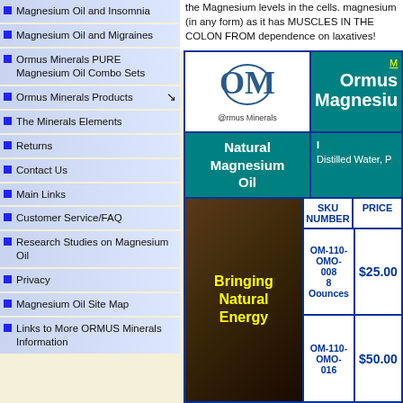Magnesium Oil and Insomnia
Magnesium Oil and Migraines
Ormus Minerals PURE Magnesium Oil Combo Sets
Ormus Minerals Products
The Minerals Elements
Returns
Contact Us
Main Links
Customer Service/FAQ
Research Studies on Magnesium Oil
Privacy
Magnesium Oil Site Map
Links to More ORMUS Minerals Information
the Magnesium levels in the cells. magnesium (in any form) as it has MUSCLES IN THE COLON FROM dependence on laxatives!
| Natural Magnesium Oil | Ingredients | SKU NUMBER | PRICE |
| --- | --- | --- | --- |
| OM-110-OMO-008 8 Ounces | $25.00 |
| OM-110-OMO-016 | $50.00 |